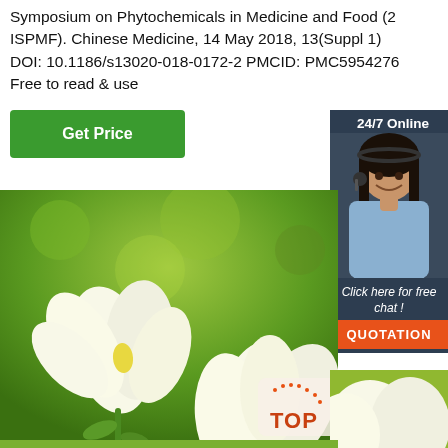Symposium on Phytochemicals in Medicine and Food (2 ISPMF). Chinese Medicine, 14 May 2018, 13(Suppl 1) DOI: 10.1186/s13020-018-0172-2 PMCID: PMC5954276 Free to read & use
[Figure (other): Green 'Get Price' button]
[Figure (other): 24/7 Online chat widget with photo of woman wearing headset, 'Click here for free chat!' text, and orange QUOTATION button]
[Figure (photo): Close-up photo of white lotus/gardenia flowers against green bokeh background]
[Figure (logo): TOP badge/logo in lower right corner]